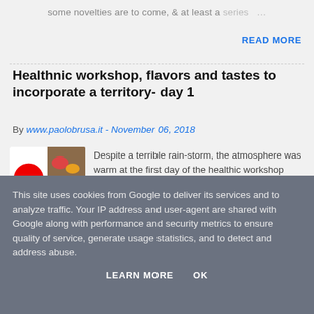some novelties are to come, & at least a series …
READ MORE
Healthnic workshop, flavors and tastes to incorporate a territory- day 1
By www.paolobrusa.it - November 06, 2018
[Figure (photo): Thumbnail collage image for the Healthnic workshop article showing food and Healthnic logo]
Despite a terrible rain-storm, the atmosphere was warm at the first day of the healthic workshop held by Diciannove in Torre Pelli… …
This site uses cookies from Google to deliver its services and to analyze traffic. Your IP address and user-agent are shared with Google along with performance and security metrics to ensure quality of service, generate usage statistics, and to detect and address abuse.
LEARN MORE   OK